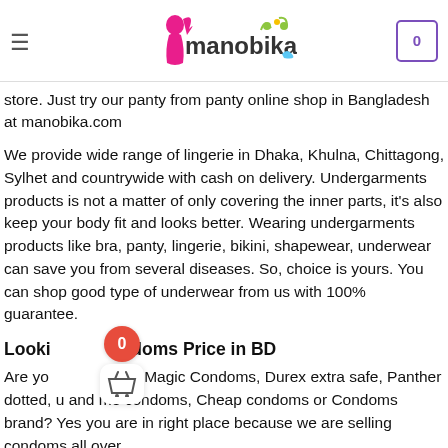manobika — menu and cart header
store. Just try our panty from panty online shop in Bangladesh at manobika.com
We provide wide range of lingerie in Dhaka, Khulna, Chittagong, Sylhet and countrywide with cash on delivery. Undergarments products is not a matter of only covering the inner parts, it's also keep your body fit and looks better. Wearing undergarments products like bra, panty, lingerie, bikini, shapewear, underwear can save you from several diseases. So, choice is yours. You can shop good type of underwear from us with 100% guarantee.
Looking for Condoms Price in BD
Are you looking for Magic Condoms, Durex extra safe, Panther dotted, u and me condoms, Cheap condoms or Condoms brand? Yes you are in right place because we are selling condoms all over